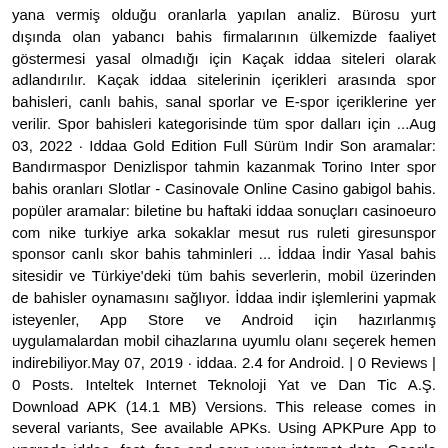yana vermiş olduğu oranlarla yapılan analiz. Bürosu yurt dışında olan yabancı bahis firmalarının ülkemizde faaliyet göstermesi yasal olmadığı için Kaçak iddaa siteleri olarak adlandırılır. Kaçak iddaa sitelerinin içerikleri arasında spor bahisleri, canlı bahis, sanal sporlar ve E-spor içeriklerine yer verilir. Spor bahisleri kategorisinde tüm spor dalları için ...Aug 03, 2022 · Iddaa Gold Edition Full Sürüm Indir Son aramalar: Bandırmaspor Denizlispor tahmin kazanmak Torino Inter spor bahis oranları Slotlar - Casinovale Online Casino gabigol bahis. popüler aramalar: biletine bu haftaki iddaa sonuçları casinoeuro com nike turkiye arka sokaklar mesut rus ruleti giresunspor sponsor canlı skor bahis tahminleri ... İddaa İndir Yasal bahis sitesidir ve Türkiye'deki tüm bahis severlerin, mobil üzerinden de bahisler oynamasını sağlıyor. İddaa indir işlemlerini yapmak isteyenler, App Store ve Android için hazırlanmış uygulamalardan mobil cihazlarına uyumlu olanı seçerek hemen indirebiliyor.May 07, 2019 · iddaa. 2.4 for Android. | 0 Reviews | 0 Posts. Inteltek Internet Teknoloji Yat ve Dan Tic A.Ş. Download APK (14.1 MB) Versions. This release comes in several variants, See available APKs. Using APKPure App to upgrade iddaa, fast, free and save your internet data. Google Data Studio turns your data into informative dashboards and reports that are easy to read, easy to share, and fully customizable. Maçkolik İddaa İndir - 2021. Maçkolik İddaa İndir, Türkiye'nin en köklü spor adına hizmet eden internet adreslerinden biridir. Sitenin ilk müessese aşamasında toplam iki girişimci ilk adımları atmıştır.